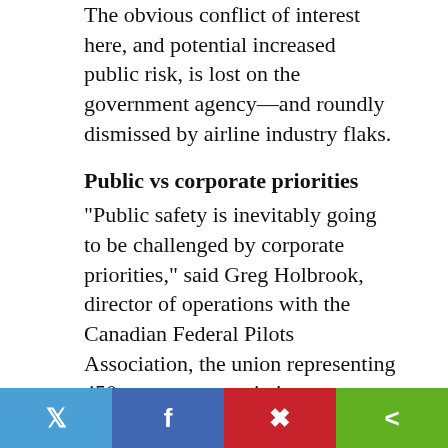The obvious conflict of interest here, and potential increased public risk, is lost on the government agency—and roundly dismissed by airline industry flaks.
Public vs corporate priorities
“Public safety is inevitably going to be challenged by corporate priorities,” said Greg Holbrook, director of operations with the Canadian Federal Pilots Association, the union representing 450 government aviation inspectors.
In order to maintain their credentials, pilots must regularly undergo what is